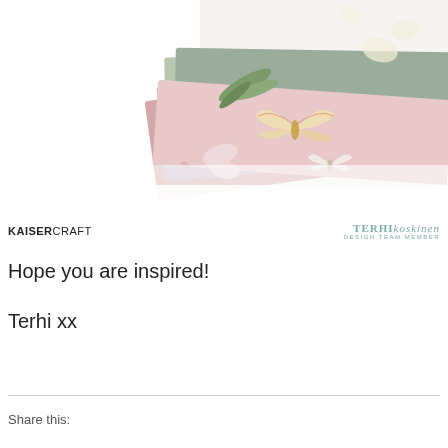[Figure (photo): Close-up photo of paper craft scrapbooking elements: layered green, pink, and cream cardstock pages with butterfly and floral embellishments, shot against white background with shallow depth of field]
KAISERCRAFT   TERHIkoskinen DESIGN TEAM MEMBER
Hope you are inspired!
Terhi xx
Share this: